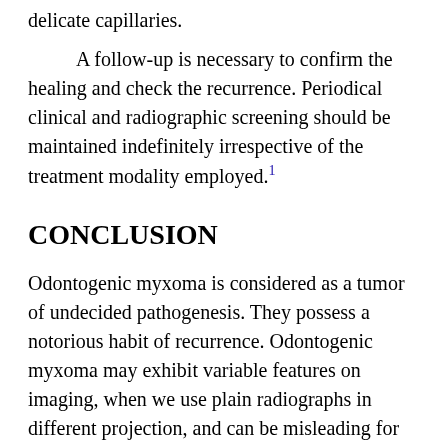delicate capillaries.
A follow-up is necessary to confirm the healing and check the recurrence. Periodical clinical and radiographic screening should be maintained indefinitely irrespective of the treatment modality employed.1
CONCLUSION
Odontogenic myxoma is considered as a tumor of undecided pathogenesis. They possess a notorious habit of recurrence. Odontogenic myxoma may exhibit variable features on imaging, when we use plain radiographs in different projection, and can be misleading for the clinicians. Further diagnostic 3D imaging techniques, such as CBCT, CT scans, and MRI, should be preferred to give more radiological details about the size and nature of lesion. It helps the clinician in deciding the conservative or surgical